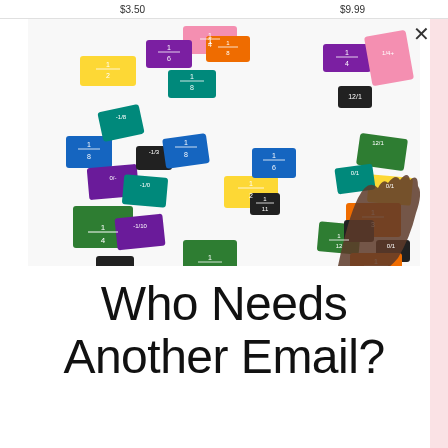$3.50  $9.99
[Figure (photo): A child's hand holding a small fraction tile among many colorful fraction tiles scattered on a white background. The tiles are various colors (blue, green, purple, orange, teal, yellow, pink, black) and display fractions like 1/2, 1/3, 1/4, 1/6, 1/8, 1/10, 1/12.]
Who Needs Another Email?